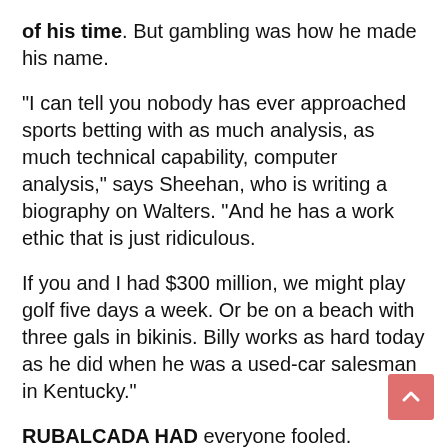of his time. But gambling was how he made his name.
"I can tell you nobody has ever approached sports betting with as much analysis, as much technical capability, computer analysis," says Sheehan, who is writing a biography on Walters. "And he has a work ethic that is just ridiculous.
If you and I had $300 million, we might play golf five days a week. Or be on a beach with three gals in bikinis. Billy works as hard today as he did when he was a used-car salesman in Kentucky."
RUBALCADA HAD everyone fooled. Walters' big action is unwelcome in many sportsbooks in Vegas, so he relies on his network of "runners" like Rubalcada, who are